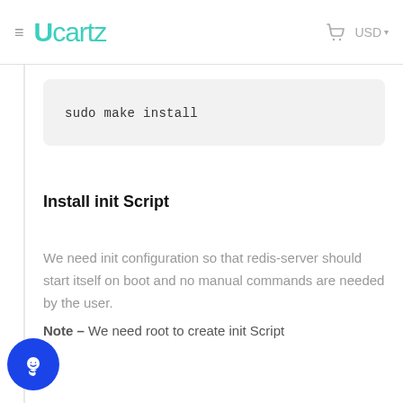≡  Ucartz  🛒  USD ▾
sudo make install
Install init Script
We need init configuration so that redis-server should start itself on boot and no manual commands are needed by the user.
Note – We need root to create init Script